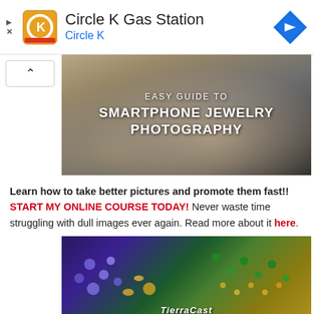[Figure (screenshot): Circle K Gas Station advertisement banner with Circle K logo on left, title text 'Circle K Gas Station' and subtitle 'Circle K' in blue, and a blue diamond navigation icon on the right]
[Figure (photo): Hero image for 'Easy Guide to Smartphone Jewelry Photography' showing a smartphone photographing jewelry on a light background, with white overlay text]
Learn how to take better pictures and promote them fast!! START MY ONLINE COURSE TODAY! Never waste time struggling with dull images ever again. Read more about it here.
[Figure (photo): Close-up photo of colorful beaded jewelry including TierraCast pieces, showing purple, blue, green and gold beads on a dark background]